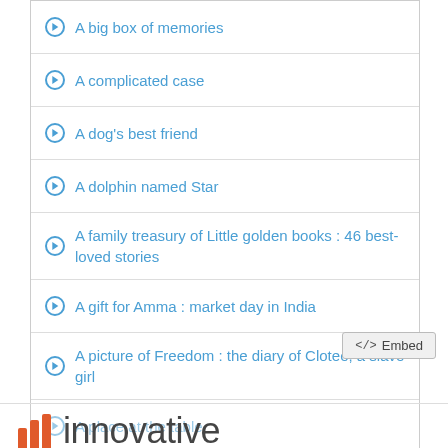A big box of memories
A complicated case
A dog's best friend
A dolphin named Star
A family treasury of Little golden books : 46 best-loved stories
A gift for Amma : market day in India
A picture of Freedom : the diary of Clotee, a slave girl
A place at the table
</> Embed
[Figure (logo): Innovative Interfaces logo with three orange vertical bars and the word 'innovative' in gray sans-serif text]